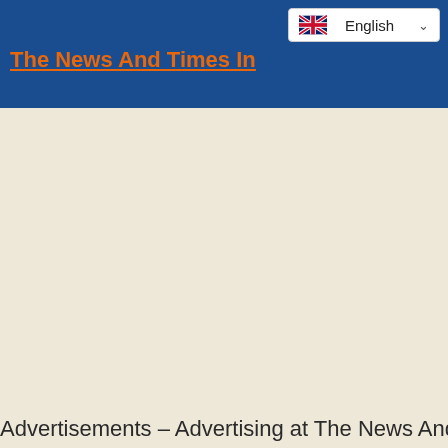The News And Times In...
[Figure (screenshot): Language selector dropdown showing UK flag and 'English' text with dropdown chevron]
Advertisements – Advertising at The News And Times